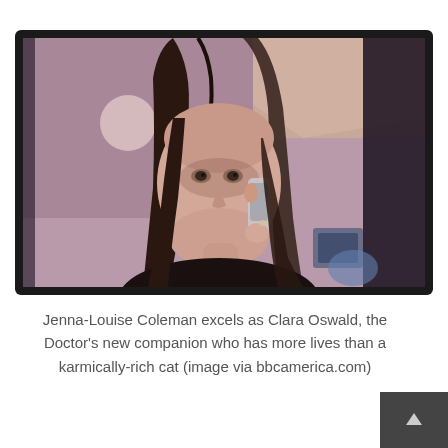[Figure (photo): Jenna-Louise Coleman as Clara Oswald, seen on a monitor/TV screen display, holding a phone to her ear, with long brown hair and a serious expression. The image appears to be a still from Doctor Who, displayed within a dark-framed television monitor.]
Jenna-Louise Coleman excels as Clara Oswald, the Doctor's new companion who has more lives than a karmically-rich cat (image via bbcamerica.com)